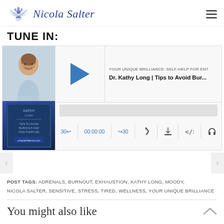Nicola Salter
TUNE IN:
[Figure (screenshot): Podcast player widget showing episode 'YOUR UNIQUE BRILLIANCE: SELF-HELP FOR ENT - Dr. Kathy Long | Tips to Avoid Bur...' with play button, time 00:00:00, and controls for skip back 30, skip forward 30, RSS, download, embed, and lock icons. Thumbnail shows a smiling woman with book cover below.]
POST TAGS: ADRENALS, BURNOUT, EXHAUSTION, KATHY LONG, MOODY, NICOLA SALTER, SENSITIVE, STRESS, TIRED, WELLNESS, YOUR UNIQUE BRILLIANCE
You might also like